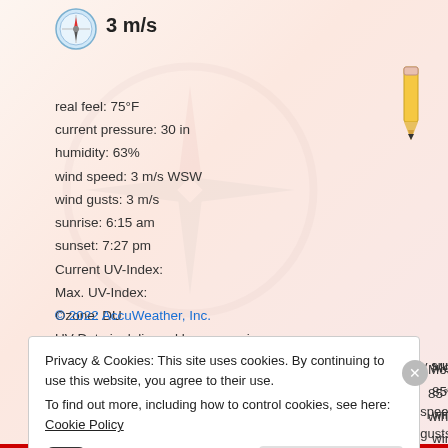[Figure (illustration): Compass speedometer icon (blue/red dial)]
3 m/s
[Figure (illustration): Pencil icon top right corner]
real feel: 75°F
current pressure: 30 in
humidity: 63%
wind speed: 3 m/s WSW
wind gusts: 3 m/s
sunrise: 6:15 am
sunset: 7:27 pm
Current UV-Index:
Max. UV-Index:
Ozone: DU
UV Data is delivered by openuv.io
© 2022 AccuWeather, Inc.
Forecast August 31, 2022
day
[Figure (illustration): Sun with clouds weather icon]
Mostly sunny
85°F
wind speed: 4 m/s WNW
wind gusts: 9 m/s
Privacy & Cookies: This site uses cookies. By continuing to use this website, you agree to their use.
To find out more, including how to control cookies, see here: Cookie Policy
Support 🖤
Close and accept